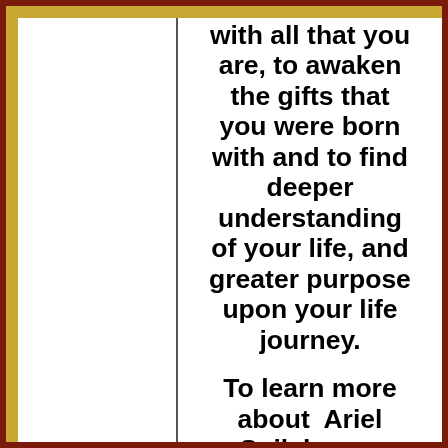with all that you are, to awaken the gifts that you were born with and to find deeper understanding of your life, and greater purpose upon your life journey.
To learn more about  Ariel Spilsbury...